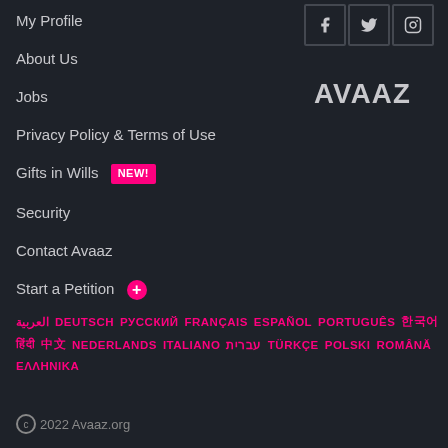My Profile
About Us
Jobs
Privacy Policy & Terms of Use
Gifts in Wills NEW!
Security
Contact Avaaz
Start a Petition +
[Figure (logo): AVAAZ logo in light gray bold text]
العربية DEUTSCH РУССКИЙ FRANÇAIS ESPAÑOL PORTUGUÊS 한국어 हिंदी 中文 NEDERLANDS ITALIANO עברית TÜRKÇE POLSKI ROMÂNĂ ΕΛΛΗΝΙΚΑ
© 2022 Avaaz.org